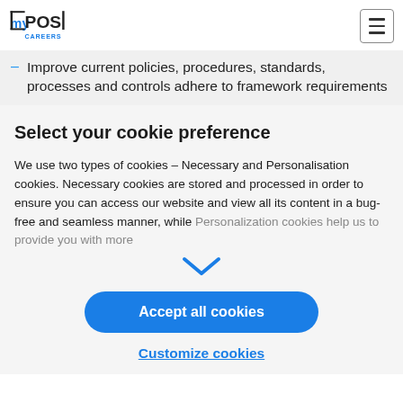myPOS CAREERS
Improve current policies, procedures, standards, processes and controls adhere to framework requirements
Select your cookie preference
We use two types of cookies – Necessary and Personalisation cookies. Necessary cookies are stored and processed in order to ensure you can access our website and view all its content in a bug-free and seamless manner, while Personalization cookies help us to provide you with more
Accept all cookies
Customize cookies